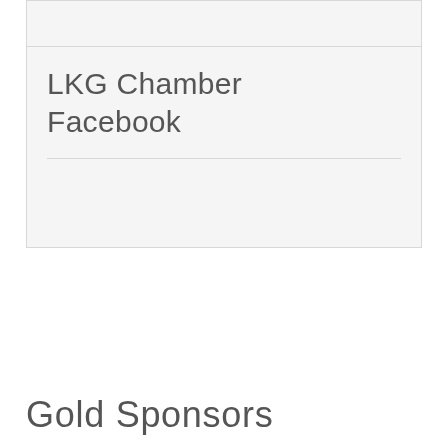LKG Chamber Facebook
Gold Sponsors